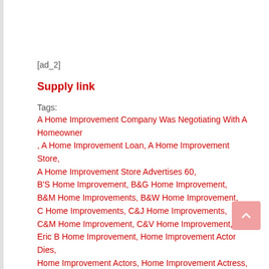[ad_2]
Supply link
Tags:
A Home Improvement Company Was Negotiating With A Homeowner , A Home Improvement Loan, A Home Improvement Store, A Home Improvement Store Advertises 60, B'S Home Improvement, B&G Home Improvement, B&M Home Improvements, B&W Home Improvement, C Home Improvements, C&J Home Improvements, C&M Home Improvement, C&V Home Improvement, Eric B Home Improvement, Home Improvement Actor Dies, Home Improvement Actors, Home Improvement Actress, Home Improvement Air Date, Home Improvement Al, Home Improvement Al Borland, Home Improvement Apps, Home Improvement Assistance, Home Improvement Black Friday Deals, Home Improvement Blogs, Home Improvement Books,